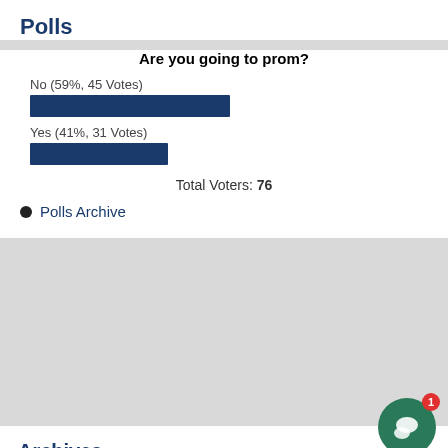Polls
[Figure (bar-chart): Are you going to prom?]
Total Voters: 76
Polls Archive
Archives
Select Month